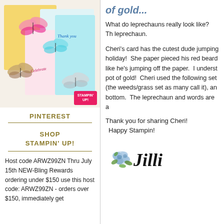[Figure (photo): Product photo showing butterfly-themed stamping cards with floral and butterfly designs in yellows, pinks, greens, and teal, with a Stampin Up logo badge.]
PINTEREST
SHOP
STAMPIN' UP!
Host code ARWZ99ZN Thru July 15th NEW-Bling Rewards ordering under $150 use this host code: ARWZ99ZN - orders over $150, immediately get
of gold...
What do leprechauns really look like?  Th leprechaun.
Cheri's card has the cutest dude jumping holiday!  She paper pieced his red beard like he's jumping off the paper.  I underst pot of gold!  Cheri used the following set (the weeds/grass set as many call it), an bottom.  The leprechaun and words are a
Thank you for sharing Cheri!
Happy Stampin!
[Figure (illustration): Signature area with blue roses and cursive Jilli signature text in black.]